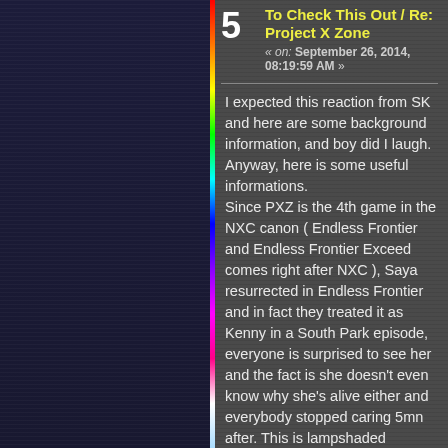5 To Check This Out / Re: Project X Zone « on: September 26, 2014, 08:19:59 AM »
I expected this reaction from SK and here are some background information, and boy did I laugh.
Anyway, here is some useful informations.
Since PXZ is the 4th game in the NXC canon ( Endless Frontier and Endless Frontier Exceed comes right after NXC ), Saya resurrected in Endless Frontier and in fact they treated it as Kenny in a South Park episode, everyone is surprised to see her and the fact is she doesn't even know why she's alive either and everybody stopped caring 5mn after. This is lampshaded multiple times in Endless Frontier. Have Fun.
tl;dr version: Saya doesn't know herself why she was resurrected 2 games prior and not even the